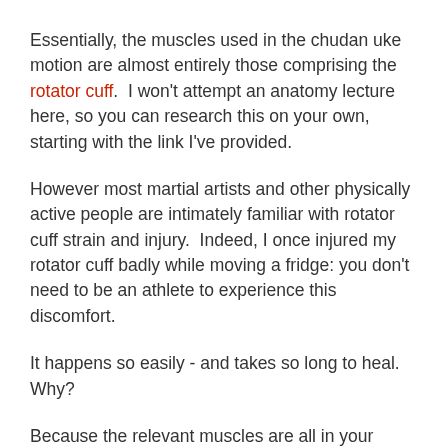Essentially, the muscles used in the chudan uke motion are almost entirely those comprising the rotator cuff.  I won't attempt an anatomy lecture here, so you can research this on your own, starting with the link I've provided.
However most martial artists and other physically active people are intimately familiar with rotator cuff strain and injury.  Indeed, I once injured my rotator cuff badly while moving a fridge: you don't need to be an athlete to experience this discomfort.
It happens so easily - and takes so long to heal.  Why?
Because the relevant muscles are all in your shoulder.  They are small and relatively weak.  They are easily over-stressed when we put too much reliance upon them.  Put simply, they are not "power" muscles!  They work to abduct and rotate the arm - motions that are fundamentally not "load hearing"